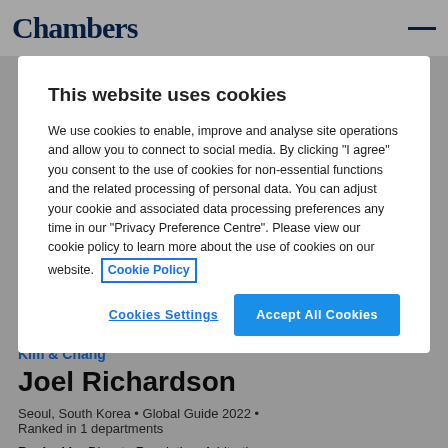Chambers
This website uses cookies
We use cookies to enable, improve and analyse site operations and allow you to connect to social media. By clicking "I agree" you consent to the use of cookies for non-essential functions and the related processing of personal data. You can adjust your cookie and associated data processing preferences any time in our "Privacy Preference Centre". Please view our cookie policy to learn more about the use of cookies on our website. Cookie Policy
Cookies Settings
Accept All Cookies
Kim & Chang
Joel Richardson
Seoul, South Korea • Global Guide 2022 • Ranked in 1 departments
Ranked in: Dispute Resolution: Arbitration